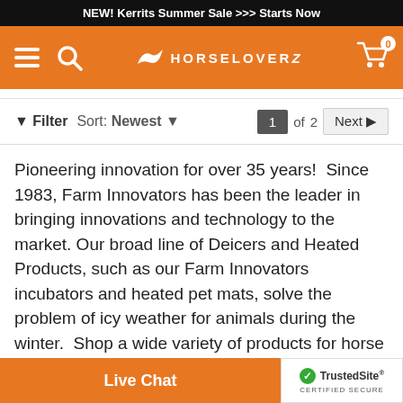NEW! Kerrits Summer Sale >>> Starts Now
[Figure (logo): HorseLoverZ navigation bar with hamburger menu, search icon, horse logo, and cart icon with badge 0]
Filter  Sort: Newest  1 of 2  Next
Pioneering innovation for over 35 years!  Since 1983, Farm Innovators has been the leader in bringing innovations and technology to the market. Our broad line of Deicers and Heated Products, such as our Farm Innovators incubators and heated pet mats, solve the problem of icy weather for animals during the winter.  Shop a wide variety of products for horse and livestock, pet, poultry, wild bird and more. HorseLoverZ brings you the world's largest selection of horse tack from top brands, like Farm Innovators. Our huge selection includes the most popular... everyday great prices. W...